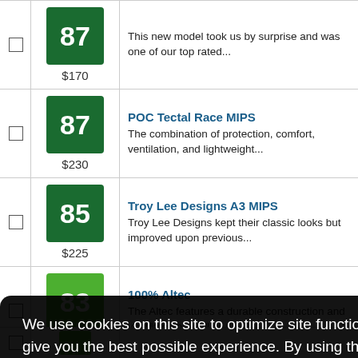|  | Score/Price | Product |
| --- | --- | --- |
| ☐ | 87
$170 | This new model took us by surprise and was one of our top rated... |
| ☐ | 87
$230 | POC Tectal Race MIPS
The combination of protection, comfort, ventilation, and lightweight... |
| ☐ | 85
$225 | Troy Lee Designs A3 MIPS
Troy Lee Designs kept their classic looks but improved upon previous... |
| ☐ | 83
$165 | 100% Altec
The Altec features a durable construction and ventilates as well as... |
We use cookies on this site to optimize site functionality and give you the best possible experience. By using this site, you accept our use of cookies.  Learn more
Got it!